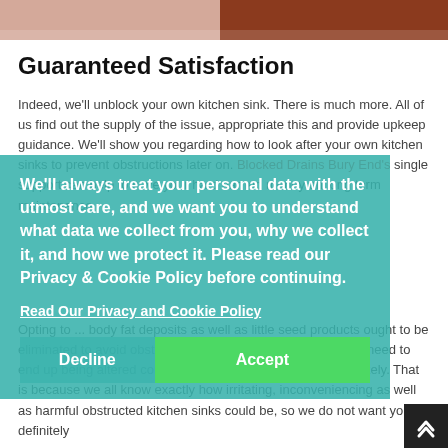[Figure (photo): Top image strip showing a partial photo with warm/beige and reddish-brown tones, likely a person or kitchen scene]
Guaranteed Satisfaction
Indeed, we'll unblock your own kitchen sink. There is much more. All of us find out the supply of the issue, appropriate this and provide upkeep guidance. We'll show you regarding how to look after your own kitchen sinks to prevent obstructions later on. Blocked Drains Bury End's single support can help to save your hard earned money on long term maintenance.
Opting to ... body fat deposits as well as little seed products ought to be eliminated to avoid obstruction. ... the actual plumbing might need to end up being altered completely. We'll recommend appropriately. That is because we all know exactly how irritating, inconveniencing as well as harmful obstructed kitchen sinks could be, so we do not want you to definitely
We'll always treat your personal data with the utmost care, and we want you to understand what data we collect from you, why we collect it, and how we protect it. Please read our Privacy & Cookie Policy before continuing.
Read Our Privacy and Cookie Policy
Decline
Accept